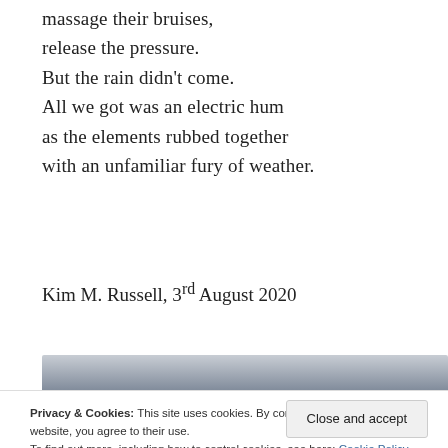massage their bruises,
release the pressure.
But the rain didn't come.
All we got was an electric hum
as the elements rubbed together
with an unfamiliar fury of weather.
Kim M. Russell, 3rd August 2020
[Figure (photo): A photograph of stormy clouds, dark grey at top fading to lighter grey, with a strip of darker ground/landscape visible at the bottom edge.]
Privacy & Cookies: This site uses cookies. By continuing to use this website, you agree to their use.
To find out more, including how to control cookies, see here: Cookie Policy
[Close and accept]